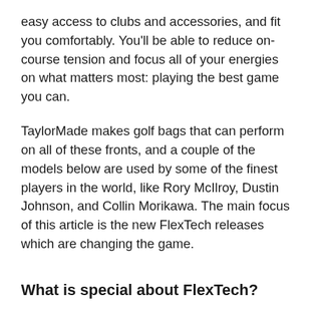easy access to clubs and accessories, and fit you comfortably. You'll be able to reduce on-course tension and focus all of your energies on what matters most: playing the best game you can.
TaylorMade makes golf bags that can perform on all of these fronts, and a couple of the models below are used by some of the finest players in the world, like Rory McIlroy, Dustin Johnson, and Collin Morikawa. The main focus of this article is the new FlexTech releases which are changing the game.
What is special about FlexTech?
Taylormarde is, of course, the industry leader in innovative